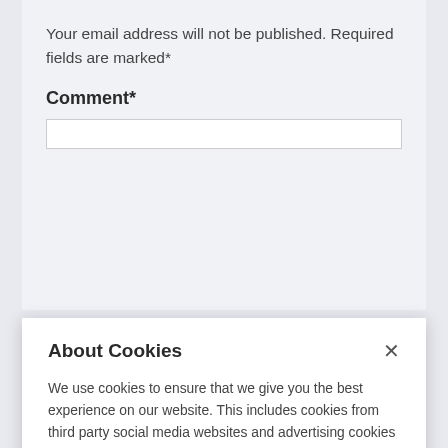Your email address will not be published. Required fields are marked*
Comment*
About Cookies
We use cookies to ensure that we give you the best experience on our website. This includes cookies from third party social media websites and advertising cookies that may analyze your use of this site. Click "Got it" to agree or "Cookie Settings" to opt out.
Cookie Notice
Got It
Cookies Settings